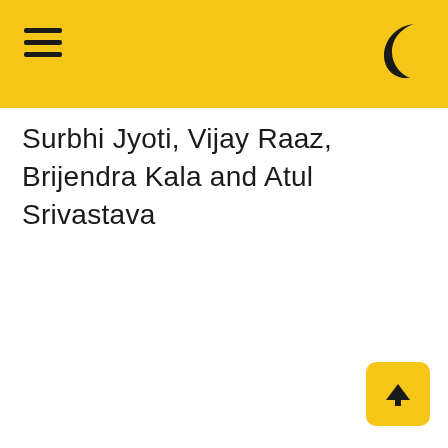Surbhi Jyoti, Vijay Raaz, Brijendra Kala and Atul Srivastava